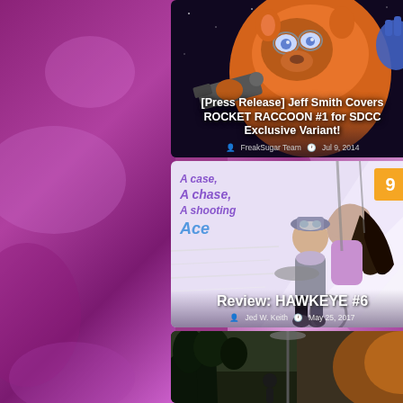[Figure (screenshot): Comic book website screenshot showing article cards on a purple/magenta background. Three article cards visible. Card 1: '[Press Release] Jeff Smith Covers ROCKET RACCOON #1 for SDCC Exclusive Variant!' by FreakSugar Team, Jul 9, 2014, with Rocket Raccoon comic art background. Card 2: 'Review: HAWKEYE #6' by Jed W. Keith, May 25, 2017, rated 9/10, with Hawkeye comic art showing tagline 'A case, A chase, A shooting Ace'. Card 3: Partial third card showing outdoor/nature photo.]